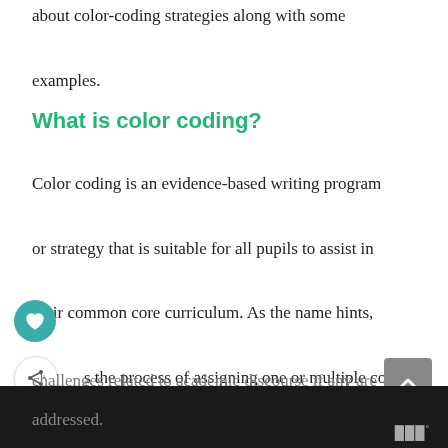about color-coding strategies along with some examples.
What is color coding?
Color coding is an evidence-based writing program or strategy that is suitable for all pupils to assist in their common core curriculum. As the name hints, s the process of assigning one or multiple colors piece of text.  This model prepares students to respond and discern better. This way, performance challenges related to academic discourse if any are addressed.